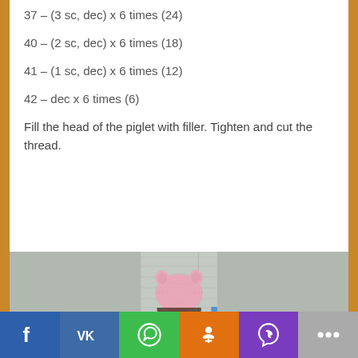37 – (3 sc, dec) x 6 times (24)
40 – (2 sc, dec) x 6 times (18)
41 – (1 sc, dec) x 6 times (12)
42 – dec x 6 times (6)
Fill the head of the piglet with filler. Tighten and cut the thread.
[Figure (photo): Top-down view of a crocheted pink pig amigurumi head with two small ears, against a light grey wooden background.]
Facebook | VK | WhatsApp | Odnoklassniki | Viber | More